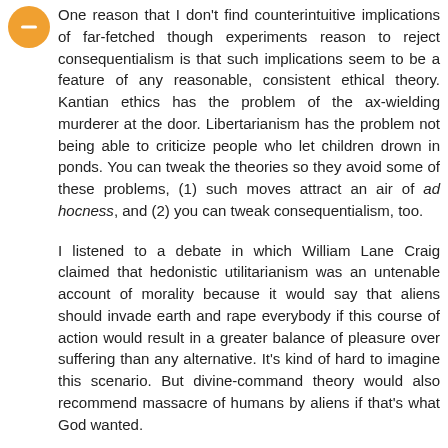[Figure (other): Orange circular avatar icon with a minus/dash symbol in the center]
One reason that I don't find counterintuitive implications of far-fetched though experiments reason to reject consequentialism is that such implications seem to be a feature of any reasonable, consistent ethical theory. Kantian ethics has the problem of the ax-wielding murderer at the door. Libertarianism has the problem not being able to criticize people who let children drown in ponds. You can tweak the theories so they avoid some of these problems, (1) such moves attract an air of ad hocness, and (2) you can tweak consequentialism, too.
I listened to a debate in which William Lane Craig claimed that hedonistic utilitarianism was an untenable account of morality because it would say that aliens should invade earth and rape everybody if this course of action would result in a greater balance of pleasure over suffering than any alternative. It's kind of hard to imagine this scenario. But divine-command theory would also recommend massacre of humans by aliens if that's what God wanted.
Reply